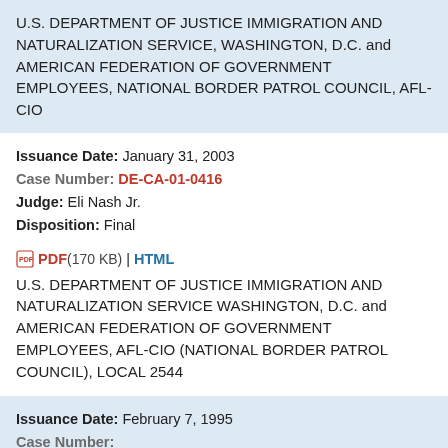U.S. DEPARTMENT OF JUSTICE IMMIGRATION AND NATURALIZATION SERVICE, WASHINGTON, D.C. and AMERICAN FEDERATION OF GOVERNMENT EMPLOYEES, NATIONAL BORDER PATROL COUNCIL, AFL-CIO
Issuance Date: January 31, 2003
Case Number: DE-CA-01-0416
Judge: Eli Nash Jr.
Disposition: Final
PDF (170 KB) | HTML
U.S. DEPARTMENT OF JUSTICE IMMIGRATION AND NATURALIZATION SERVICE WASHINGTON, D.C. and AMERICAN FEDERATION OF GOVERNMENT EMPLOYEES, AFL-CIO (NATIONAL BORDER PATROL COUNCIL), LOCAL 2544
Issuance Date: February 7, 1995